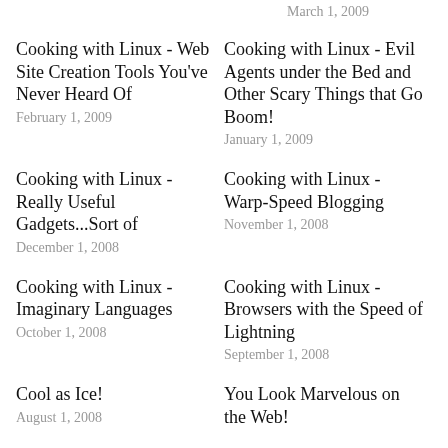March 1, 2009
Cooking with Linux - Web Site Creation Tools You've Never Heard Of
February 1, 2009
Cooking with Linux - Evil Agents under the Bed and Other Scary Things that Go Boom!
January 1, 2009
Cooking with Linux - Really Useful Gadgets...Sort of
December 1, 2008
Cooking with Linux - Warp-Speed Blogging
November 1, 2008
Cooking with Linux - Imaginary Languages
October 1, 2008
Cooking with Linux - Browsers with the Speed of Lightning
September 1, 2008
Cool as Ice!
August 1, 2008
You Look Marvelous on the Web!